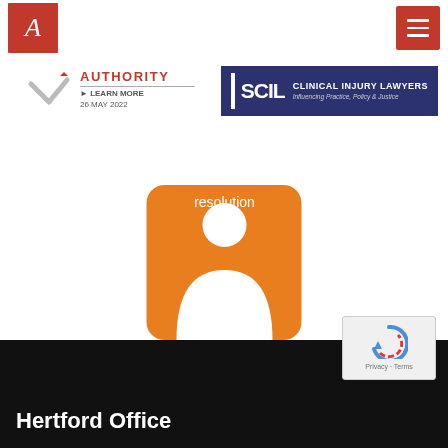[Figure (logo): Law firm logo with red background and stylized A letter]
[Figure (logo): Hamburger menu button with red background]
[Figure (logo): Authority badge with checkmark, AUTHORITY text, LEARN MORE link, date 26 MAY 2022]
[Figure (logo): SCIL Clinical Injury Lawyers banner - Influencing Practice, Policy & Justice]
[Figure (logo): Resolution specialist logo - orange rounded square with person silhouette]
[Figure (logo): reCAPTCHA widget with Privacy and Terms links]
Hertford Office